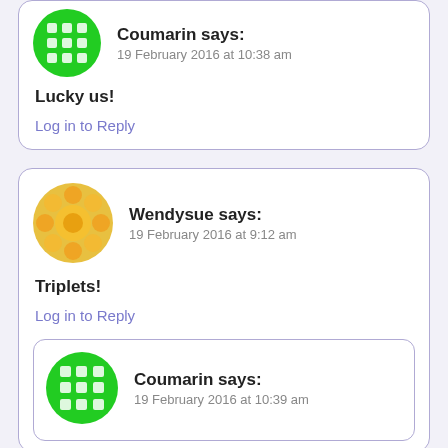Coumarin says: 19 February 2016 at 10:38 am
Lucky us!
Log in to Reply
Wendysue says: 19 February 2016 at 9:12 am
Triplets!
Log in to Reply
Coumarin says: 19 February 2016 at 10:39 am